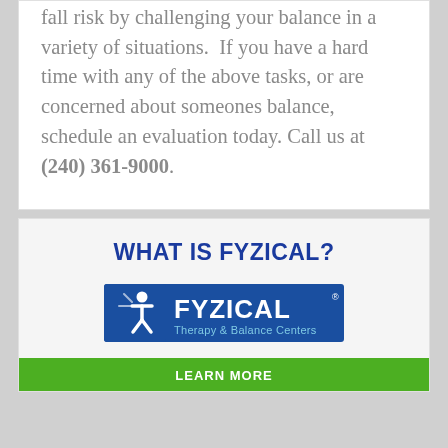fall risk by challenging your balance in a variety of situations.  If you have a hard time with any of the above tasks, or are concerned about someones balance, schedule an evaluation today. Call us at (240) 361-9000.
WHAT IS FYZICAL?
[Figure (logo): FYZICAL Therapy & Balance Centers logo — blue rectangle with white star/figure icon on left and FYZICAL text in white, with 'Therapy & Balance Centers' in light blue below]
LEARN MORE